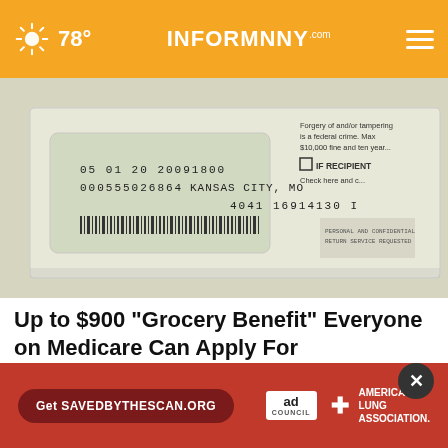78° INFORMNNY.com
[Figure (photo): Close-up of a government/Medicare mailing envelope showing address details: 05 01 20 20091800, 000555026864, KANSAS CITY, MO, 4041 16914130 I, with a barcode and text about forgery being a federal crime. IF RECIPIENT checkbox visible.]
Up to $900 "Grocery Benefit" Everyone on Medicare Can Apply For
Smart Lifestyle Trends
[Figure (screenshot): Red advertisement banner: Get SAVEDBYTHESCAN.ORG button, Ad Council logo, American Lung Association logo with cross symbol.]